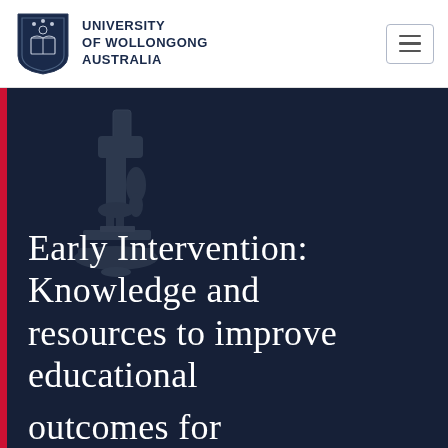[Figure (logo): University of Wollongong Australia logo with shield crest and text]
Early Intervention: Knowledge and resources to improve educational outcomes for